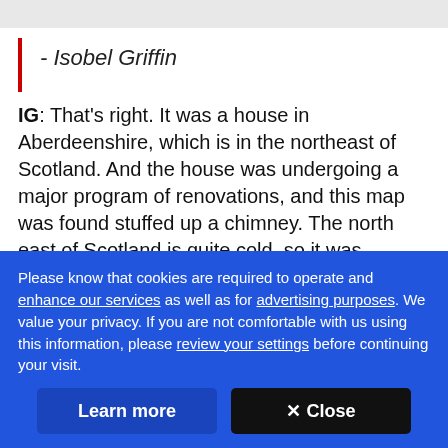- Isobel Griffin
IG: That's right. It was a house in Aberdeenshire, which is in the northeast of Scotland. And the house was undergoing a major program of renovations, and this map was found stuffed up a chimney. The north east of Scotland is quite cold, so it was presumably there to keep out the draft. And the contractors originally just thought that it was a piece of rubbish. They had on
Please know that cookies are required to operate and enhance our services as well as for advertising purposes. We value your privacy. If you are not comfortable with us using this information, please review your settings before continuing your visit.
Learn more
✕ Close